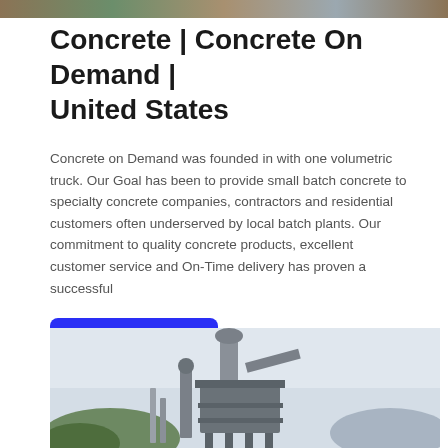[Figure (photo): Top banner image showing a construction/concrete site scene]
Concrete | Concrete On Demand | United States
Concrete on Demand was founded in with one volumetric truck. Our Goal has been to provide small batch concrete to specialty concrete companies, contractors and residential customers often underserved by local batch plants. Our commitment to quality concrete products, excellent customer service and On-Time delivery has proven a successful
[Figure (illustration): Blue 'LEARN MORE' button]
[Figure (photo): Bottom image showing an industrial concrete batching plant/machinery with gray sky background]